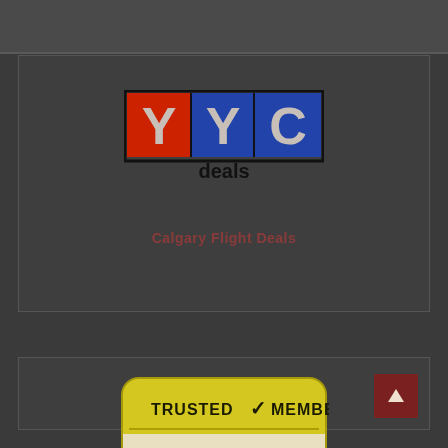[Figure (logo): YYC Deals logo — letters Y Y C in red and blue blocks with black border, word 'deals' below in bold black sans-serif]
Calgary Flight Deals
[Figure (logo): Trusted Member badge — olive/yellow rounded rectangle with checkmark, CDA maple leaf logo, text 'Canadian Deals Association']
[Figure (other): Dark red upward arrow button in bottom-right corner]